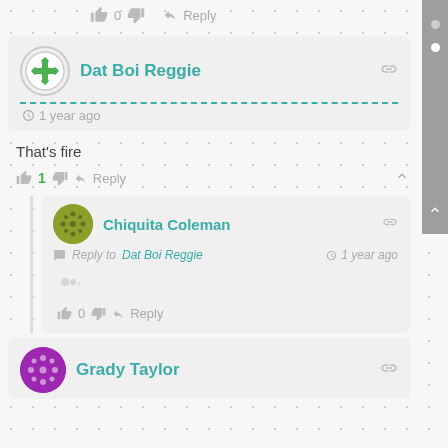👍 0 👎 → Reply
Dat Boi Reggie — 1 year ago
That's fire
👍 1 👎 → Reply ∧
Chiquita Coleman — Reply to Dat Boi Reggie — 1 year ago
👍 0 👎 → Reply
Grady Taylor